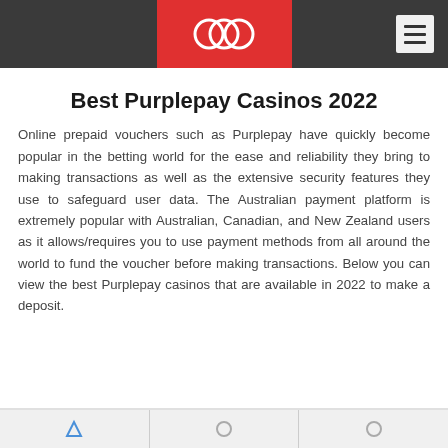Best Purplepay Casinos 2022
Online prepaid vouchers such as Purplepay have quickly become popular in the betting world for the ease and reliability they bring to making transactions as well as the extensive security features they use to safeguard user data. The Australian payment platform is extremely popular with Australian, Canadian, and New Zealand users as it allows/requires you to use payment methods from all around the world to fund the voucher before making transactions. Below you can view the best Purplepay casinos that are available in 2022 to make a deposit.
[Figure (other): Bottom panel with casino listing cards, partially visible]